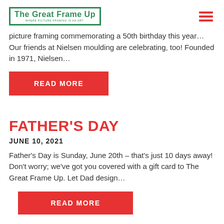[Figure (logo): The Great Frame Up logo in green with tagline 'WHERE PICTURE FRAMING IS AN ART']
picture framing commemorating a 50th birthday this year… Our friends at Nielsen moulding are celebrating, too! Founded in 1971, Nielsen…
READ MORE
FATHER'S DAY
JUNE 10, 2021
Father's Day is Sunday, June 20th – that's just 10 days away! Don't worry; we've got you covered with a gift card to The Great Frame Up.  Let Dad design…
READ MORE